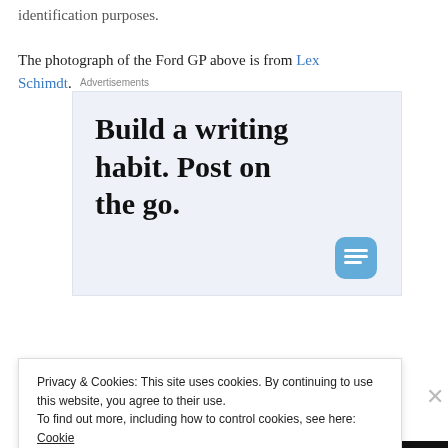identification purposes.
The photograph of the Ford GP above is from Lex Schimdt.
[Figure (screenshot): Advertisement banner with light blue background showing text 'Build a writing habit. Post on the go.' with a circular icon at bottom right]
Privacy & Cookies: This site uses cookies. By continuing to use this website, you agree to their use.
To find out more, including how to control cookies, see here: Cookie Policy